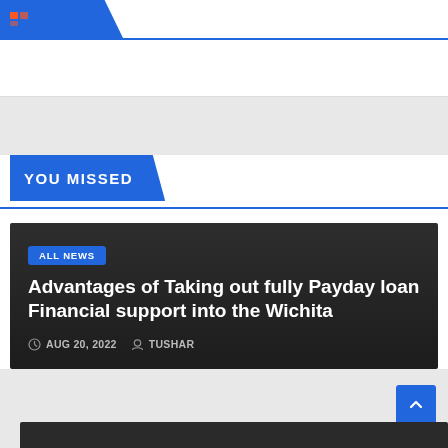YOU MISSED
ALL NEWS
Advantages of Taking out fully Payday loan Financial support into the Wichita
AUG 20, 2022  TUSHAR